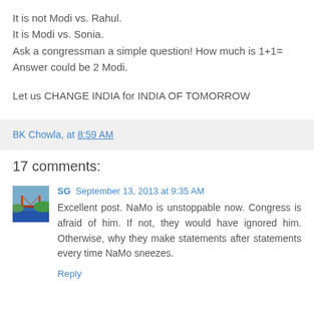It is not Modi vs. Rahul.
It is Modi vs. Sonia.
Ask a congressman a simple question! How much is 1+1=
Answer could be 2 Modi.

Let us CHANGE INDIA for INDIA OF TOMORROW
BK Chowla, at 8:59 AM
17 comments:
SG  September 13, 2013 at 9:35 AM
Excellent post. NaMo is unstoppable now. Congress is afraid of him. If not, they would have ignored him. Otherwise, why they make statements after statements every time NaMo sneezes.
Reply